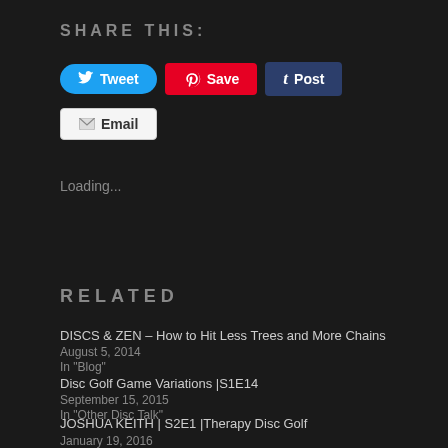SHARE THIS:
[Figure (screenshot): Social sharing buttons: Tweet (Twitter/blue), Save (Pinterest/red), Post (Tumblr/dark blue), Email (grey/white)]
Loading...
RELATED
DISCS & ZEN – How to Hit Less Trees and More Chains
August 5, 2014
In "Blog"
Disc Golf Game Variations |S1E14
September 15, 2015
In "Other Disc Talk"
JOSHUA KEITH | S2E1 |Therapy Disc Golf
January 19, 2016